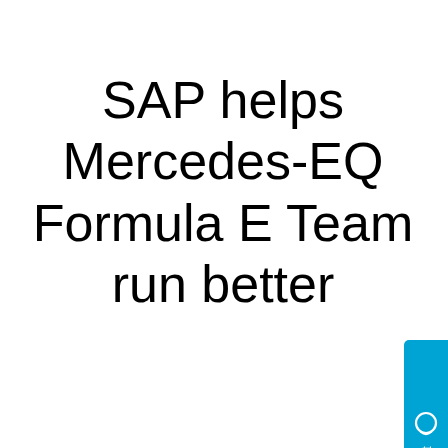SAP helps Mercedes-EQ Formula E Team run better
[Figure (other): Chat widget button with speech bubble icon and 'Chat' label in white text on a blue background, positioned at the right edge of the page]